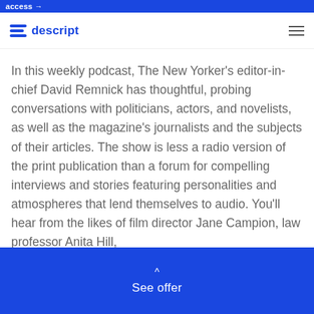access →
descript
In this weekly podcast, The New Yorker's editor-in-chief David Remnick has thoughtful, probing conversations with politicians, actors, and novelists, as well as the magazine's journalists and the subjects of their articles. The show is less a radio version of the print publication than a forum for compelling interviews and stories featuring personalities and atmospheres that lend themselves to audio. You'll hear from the likes of film director Jane Campion, law professor Anita Hill,
See offer